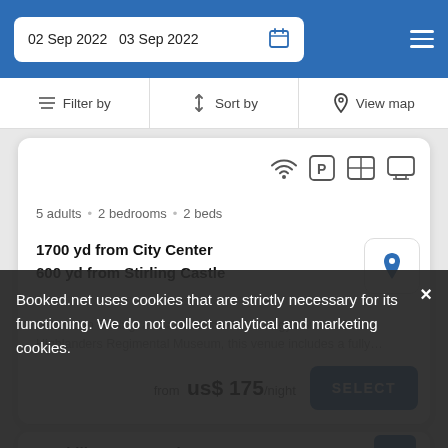02 Sep 2022  03 Sep 2022
Filter by  |  Sort by  |  View map
5 adults • 2 bedrooms • 2 beds
1700 yd from City Center
600 yd from Stirling Castle
Located in Stirling, and a short stroll from Argyll Sutherland Highlanders Regimental Museum, this venue includes a fully...
from  us$ 175/night
Corshill Cottage And Barn Apartments
Booked.net uses cookies that are strictly necessary for its functioning. We do not collect analytical and marketing cookies.